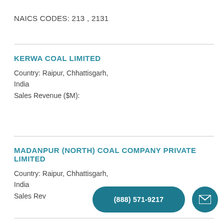NAICS CODES: 213 , 2131
KERWA COAL LIMITED
Country: Raipur, Chhattisgarh,
India
Sales Revenue ($M):
MADANPUR (NORTH) COAL COMPANY PRIVATE LIMITED
Country: Raipur, Chhattisgarh,
India
Sales Rev...